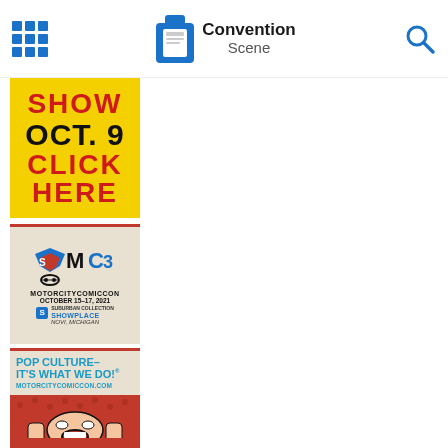Convention Scene
[Figure (advertisement): Yellow background advertisement showing SHOW OCT. 9 CLICK HERE in red and black bold text]
[Figure (advertisement): Motor City Comic Con advertisement - October 15-17, 2021, Suburban Collection Showplace, Novi Michigan]
[Figure (advertisement): Pop Culture - It's What We Do! motorcitycomiccon.com advertisement with pop-art illustration of screaming woman]